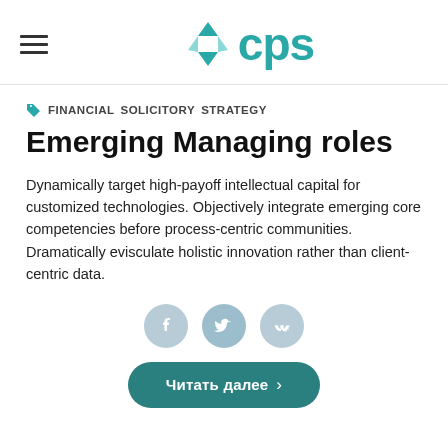CPS
FINANCIAL  SOLICITORY  STRATEGY
Emerging Managing roles
Dynamically target high-payoff intellectual capital for customized technologies. Objectively integrate emerging core competencies before process-centric communities. Dramatically evisculate holistic innovation rather than client-centric data.
[Figure (illustration): Social share icons: Facebook, Twitter, VK]
Читать далее >